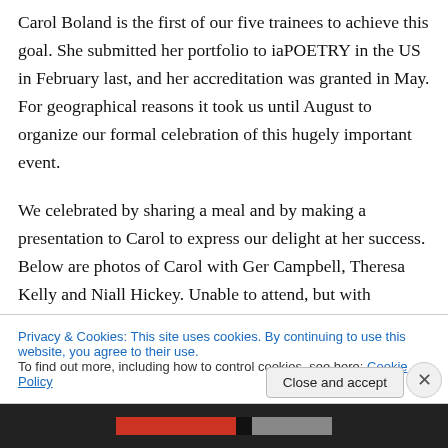Carol Boland is the first of our five trainees to achieve this goal. She submitted her portfolio to iaPOETRY in the US in February last, and her accreditation was granted in May. For geographical reasons it took us until August to organize our formal celebration of this hugely important event.

We celebrated by sharing a meal and by making a presentation to Carol to express our delight at her success. Below are photos of Carol with Ger Campbell, Theresa Kelly and Niall Hickey. Unable to attend, but with our spirit...
Privacy & Cookies: This site uses cookies. By continuing to use this website, you agree to their use.
To find out more, including how to control cookies, see here: Cookie Policy